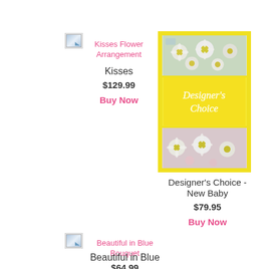[Figure (photo): Broken image placeholder for Kisses Flower Arrangement]
Kisses Flower Arrangement
Kisses
$129.99
Buy Now
[Figure (photo): Designer's Choice - New Baby flower arrangement photo mosaic with daisy flowers and yellow background with cursive text 'Designer's Choice']
Designer's Choice - New Baby
$79.95
Buy Now
[Figure (photo): Broken image placeholder for Beautiful in Blue Bouquet]
Beautiful in Blue Bouquet
Beautiful in Blue
$64.99